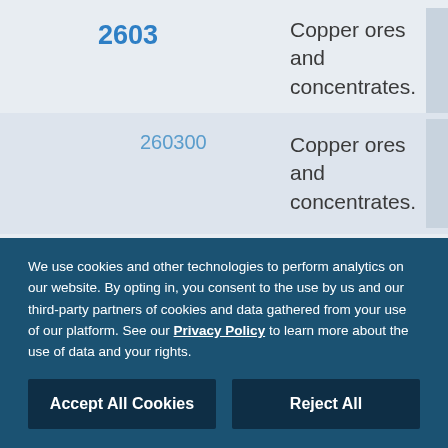| Code | Description |
| --- | --- |
| 2603 | Copper ores and concentrates. |
| 260300 | Copper ores and concentrates. |
| 2609 | Tin ores and concentrates. |
| 260900 | Tin ores and concentrates. |
We use cookies and other technologies to perform analytics on our website. By opting in, you consent to the use by us and our third-party partners of cookies and data gathered from your use of our platform. See our Privacy Policy to learn more about the use of data and your rights.
Accept All Cookies
Reject All